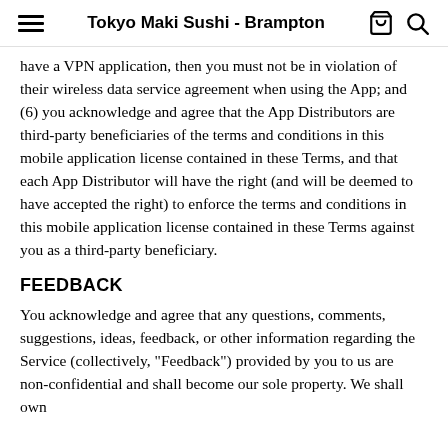Tokyo Maki Sushi - Brampton
have a VPN application, then you must not be in violation of their wireless data service agreement when using the App; and (6) you acknowledge and agree that the App Distributors are third-party beneficiaries of the terms and conditions in this mobile application license contained in these Terms, and that each App Distributor will have the right (and will be deemed to have accepted the right) to enforce the terms and conditions in this mobile application license contained in these Terms against you as a third-party beneficiary.
FEEDBACK
You acknowledge and agree that any questions, comments, suggestions, ideas, feedback, or other information regarding the Service (collectively, "Feedback") provided by you to us are non-confidential and shall become our sole property. We shall own